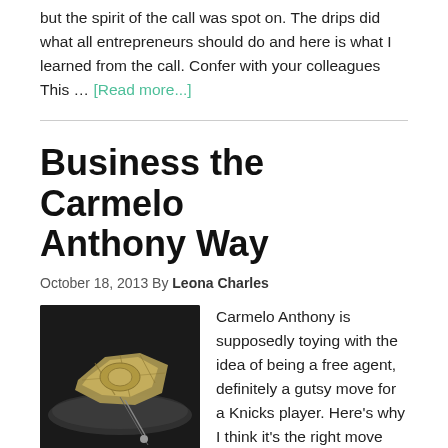but the spirit of the call was spot on. The drips did what all entrepreneurs should do and here is what I learned from the call. Confer with your colleagues This … [Read more...]
Business the Carmelo Anthony Way
October 18, 2013 By Leona Charles
[Figure (photo): A crumpled dollar bill folded into a shape, resting on a light surface with a dark background and an arrow or pin visible.]
Carmelo Anthony is supposedly toying with the idea of being a free agent, definitely a gutsy move for a Knicks player. Here's why I think it's the right move